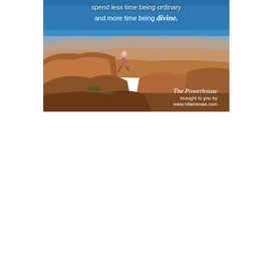[Figure (photo): A woman sitting on a rocky cliff edge overlooking the Grand Canyon under a bright blue sky. Overlaid text at top reads 'and more time being divine.' and bottom right shows 'The Powerhouse brought to you by www.hilariemae.com']